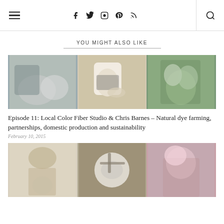Navigation and social icons header
YOU MIGHT ALSO LIKE
[Figure (photo): Three-panel collage: person with sheep, ceramic mug with sheep illustration and yarn, couple in forest]
Episode 11: Local Color Fiber Studio & Chris Barnes – Natural dye farming, partnerships, domestic production and sustainability
February 10, 2015
[Figure (photo): Three-panel collage: person holding knitted hat over face, scissors with wool on wood, woman with pink hair]